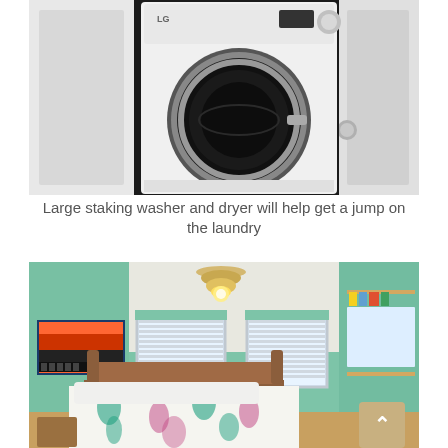[Figure (photo): Photo of a stacked LG washer and dryer unit inside a narrow closet with white bi-fold doors open, door knob visible on right side]
Large staking washer and dryer will help get a jump on the laundry
[Figure (photo): Photo of a bedroom with mint/teal green walls, a bed with tropical palm tree patterned bedspread, ceiling light fixture, two windows with blinds, wall art including a sunset painting, and bookshelves on the right wall]